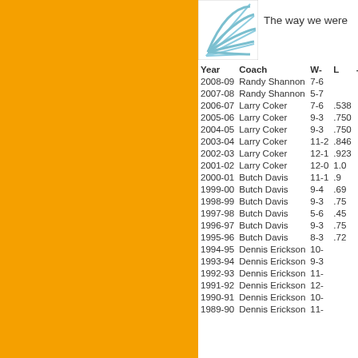[Figure (logo): University of Miami swirling logo/emblem in light blue]
The way we were
| Year | Coach | W- | L | -T | W/L Pct |
| --- | --- | --- | --- | --- | --- |
| 2008-09 | Randy Shannon | 7-6 |  |  |  |
| 2007-08 | Randy Shannon | 5-7 |  |  |  |
| 2006-07 | Larry Coker | 7-6 | .538 |  |  |
| 2005-06 | Larry Coker | 9-3 | .750 |  |  |
| 2004-05 | Larry Coker | 9-3 | .750 |  |  |
| 2003-04 | Larry Coker | 11-2 | .846 |  |  |
| 2002-03 | Larry Coker | 12-1 | .923 |  |  |
| 2001-02 | Larry Coker | 12-0 | 1.0 |  |  |
| 2000-01 | Butch Davis | 11-1 | .9 |  |  |
| 1999-00 | Butch Davis | 9-4 | .69 |  |  |
| 1998-99 | Butch Davis | 9-3 | .75 |  |  |
| 1997-98 | Butch Davis | 5-6 | .45 |  |  |
| 1996-97 | Butch Davis | 9-3 | .75 |  |  |
| 1995-96 | Butch Davis | 8-3 | .72 |  |  |
| 1994-95 | Dennis Erickson | 10- |  |  |  |
| 1993-94 | Dennis Erickson | 9-3 |  |  |  |
| 1992-93 | Dennis Erickson | 11- |  |  |  |
| 1991-92 | Dennis Erickson | 12- |  |  |  |
| 1990-91 | Dennis Erickson | 10- |  |  |  |
| 1989-90 | Dennis Erickson | 11- |  |  |  |